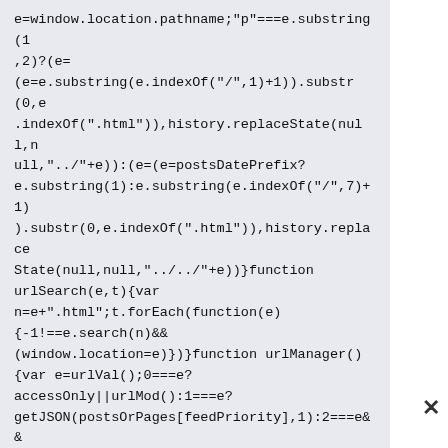e=window.location.pathname;"p"===e.substring(1,2)?(e=(e=e.substring(e.indexOf("/",1)+1)).substr(0,e.indexOf(".html")),history.replaceState(null,null,"../"+e)):(e=(e=postsDatePrefix?e.substring(1):e.substring(e.indexOf("/",7)+1)).substr(0,e.indexOf(".html")),history.replaceState(null,null,"../../"+e))}function urlSearch(e,t){var n=e+".html";t.forEach(function(e){-1!==e.search(n)&&(window.location=e)})}function urlManager(){var e=urlVal();0===e?accessOnly||urlMod():1===e?getJSON(postsOrPages[feedPriority],1):2===e&&(accessOnly||history.replaceState(null,null,"/"))}function getJSON(e,t){var n=document.createElement("script");if(useApiV3